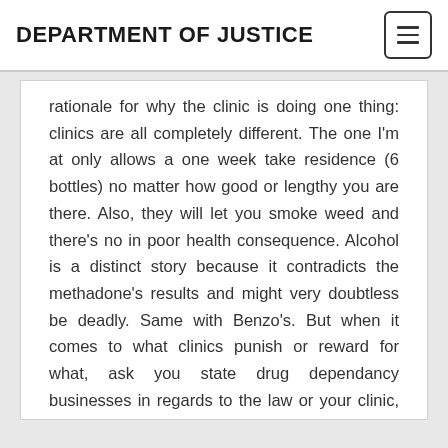DEPARTMENT OF JUSTICE
rationale for why the clinic is doing one thing: clinics are all completely different. The one I'm at only allows a one week take residence (6 bottles) no matter how good or lengthy you are there. Also, they will let you smoke weed and there's no in poor health consequence. Alcohol is a distinct story because it contradicts the methadone's results and might very doubtless be deadly. Same with Benzo's. But when it comes to what clinics punish or reward for what, ask you state drug dependancy businesses in regards to the law or your clinic, if … READ MORE